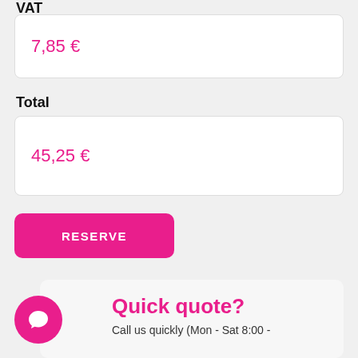VAT
7,85 €
Total
45,25 €
RESERVE
Quick quote?
Call us quickly (Mon - Sat 8:00 -